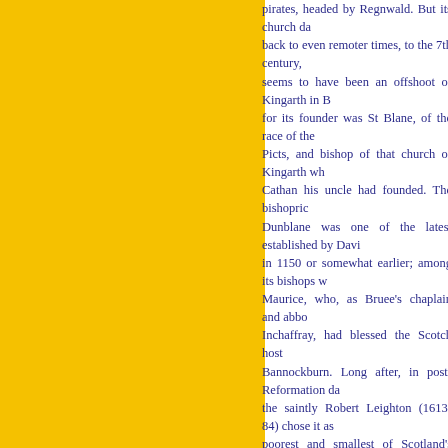pirates, headed by Regnwald. But its church dates back to even remoter times, to the 7th century, and seems to have been an offshoot of Kingarth in Bute, for its founder was St Blane, of the race of the I Picts, and bishop of that church of Kingarth which Cathan his uncle had founded. The bishopric of Dunblane was one of the latest established by David in 1150 or somewhat earlier; among its bishops was Maurice, who, as Bruee's chaplain and abbot of Inchaffray, had blessed the Scotch host at Bannockburn. Long after, in post-Reformation days, the saintly Robert Leighton (1613-84) chose it as the poorest and smallest of Scotland's sees, and held it nine years till his translation in 1670 to the archbishopric of Glasgow. In him Dunblane's chief interest is centred; and his memory lives in the Leightonian Library, the Bishop's Well, and the Bishop's Walk, a pleasant path leading southward not far from the river, and overshadowed by venerable beech trees. Then, too, there is Tannahill's song, Jessie the Flower o' -Dumblane, recalled when the sun goes down behind Ben Lomond; or one may remember that Prince Charles Edward held a levee in Balhalldie House, now an old ruinous mansion, on 11 Sept. 1745, and that the Queen drove through Dunblane on 12 Sept. 1844. The title of Viscount Dunblane in the peerage of Scotland, conferred in 1675 on Peregrine Osborne, who in 1712 succeeded his father as Duke of Leeds, is now borne by his sixth descendant, George Godolphin Osborne, ninth Duke of Leeds and eighth Viscount Dunblane, 1828 to 1872.